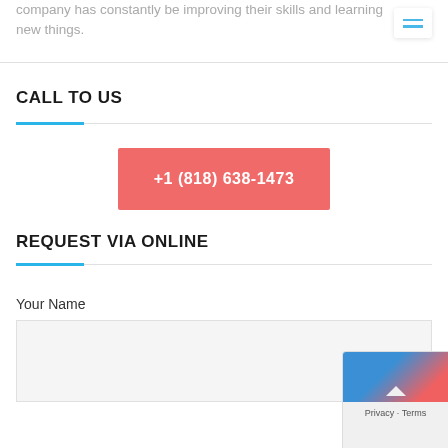company has constantly be improving their skills and learning new things.
CALL TO US
+1 (818) 638-1473
REQUEST VIA ONLINE
Your Name